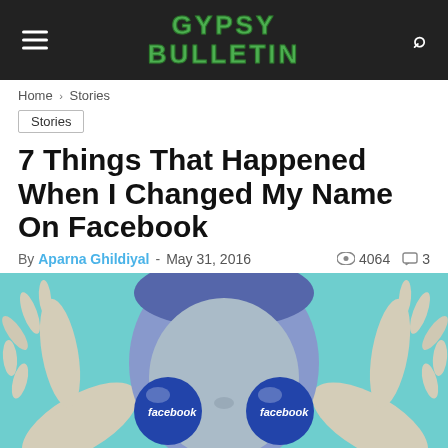GYPSY BULLETIN
Home › Stories
Stories
7 Things That Happened When I Changed My Name On Facebook
By Aparna Ghildiyal - May 31, 2016  4064  3
[Figure (photo): Woman holding two blue Facebook-branded spheres up to her eyes like glasses, against a teal background, viewed from above]